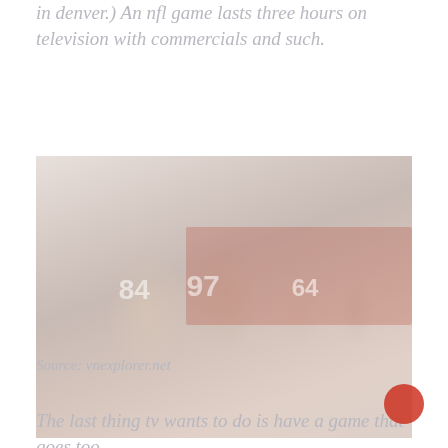in denver.) An nfl game lasts three hours on television with commercials and such.
[Figure (photo): Faded/washed-out photo of NFL football players on the field, players wearing white jerseys with numbers 84, 97, and 64 visible, red and orange team banner in background]
Source: vnexplorer.net
The last thing tv wants to do is have a game that goes too